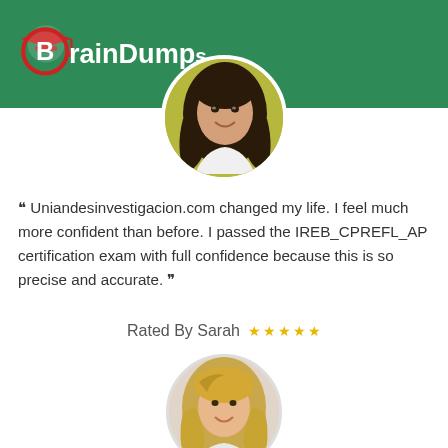BrainDumps
[Figure (photo): Circular profile photo of a woman with long dark curly hair, smiling, wearing a white polka dot top]
❝ Uniandesinvestigacion.com changed my life. I feel much more confident than before. I passed the IREB_CPREFL_AP certification exam with full confidence because this is so precise and accurate. ❞
Rated By Sarah ★★★★★
[Figure (photo): Circular profile photo of a young blonde woman smiling]